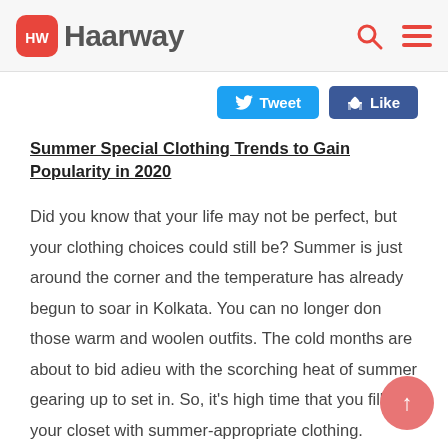Haarway
Tweet   Like
Summer Special Clothing Trends to Gain Popularity in 2020
Did you know that your life may not be perfect, but your clothing choices could still be? Summer is just around the corner and the temperature has already begun to soar in Kolkata. You can no longer don those warm and woolen outfits. The cold months are about to bid adieu with the scorching heat of summer gearing up to set in. So, it's high time that you filled your closet with summer-appropriate clothing. Haarway has come up with a bunch of summer-friendly outfit ideas in this write-up. Make sure to enlist